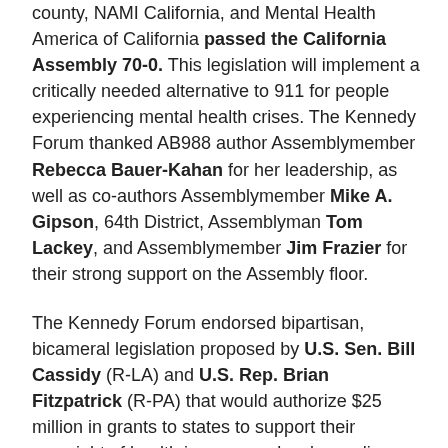county, NAMI California, and Mental Health America of California passed the California Assembly 70-0. This legislation will implement a critically needed alternative to 911 for people experiencing mental health crises. The Kennedy Forum thanked AB988 author Assemblymember Rebecca Bauer-Kahan for her leadership, as well as co-authors Assemblymember Mike A. Gipson, 64th District, Assemblyman Tom Lackey, and Assemblymember Jim Frazier for their strong support on the Assembly floor.
The Kennedy Forum endorsed bipartisan, bicameral legislation proposed by U.S. Sen. Bill Cassidy (R-LA) and U.S. Rep. Brian Fitzpatrick (R-PA) that would authorize $25 million in grants to states to support their oversight of health insurance plans' compliance with mental health parity requirements. Learn more about The Parity Implementation Assistance Act.